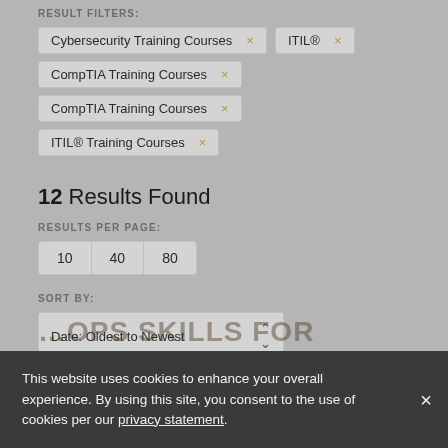RESULT FILTERS:
Cybersecurity Training Courses ×
ITIL® ×
CompTIA Training Courses ×
CompTIA Training Courses ×
ITIL® Training Courses ×
12 Results Found
RESULTS PER PAGE:
10  40  80
SORT BY:
Date: Oldest to Newest
This website uses cookies to enhance your overall experience. By using this site, you consent to the use of cookies per our privacy statement.